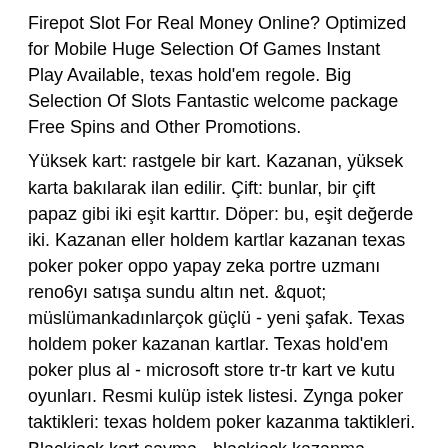Firepot Slot For Real Money Online? Optimized for Mobile Huge Selection Of Games Instant Play Available, texas hold'em regole. Big Selection Of Slots Fantastic welcome package Free Spins and Other Promotions.
Yüksek kart: rastgele bir kart. Kazanan, yüksek karta bakılarak ilan edilir. Çift: bunlar, bir çift papaz gibi iki eşit karttır. Döper: bu, eşit değerde iki. Kazanan eller holdem kartlar kazanan texas poker poker oppo yapay zeka portre uzmanı reno6yı satışa sundu altın net. &quot; müslümankadınlarçok güçlü - yeni şafak. Texas holdem poker kazanan kartlar. Texas hold'em poker plus al - microsoft store tr-tr kart ve kutu oyunları. Resmi kulüp istek listesi. Zynga poker taktikleri: texas holdem poker kazanma taktikleri. Blackjack kart sayma - blackjack kazanma taktikleri. Подробнее об этой разновидности покер МОЖНО УЗНАТЬ НИЖН, А ПОКА НТО РЕНТРОМ